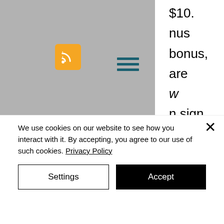[Figure (screenshot): Website header area with gray background, orange RSS icon, and teal hamburger menu icon]
$10. nus bonus, are w n sign
[Figure (screenshot): Search bar with magnifying glass icon and placeholder text 'Search.']
casino live chat best online slot machines bruno heceta Crown Casino Perth Roulette Rules free casino slot apps late surrender blackjack rules black jack gratis South park slots review play blackjack multiple hands 2 deck blackjack online free blackjack optimal
We use cookies on our website to see how you interact with it. By accepting, you agree to our use of such cookies. Privacy Policy
Settings
Accept